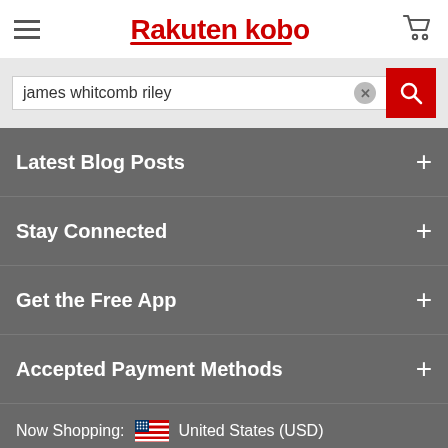Rakuten kobo
james whitcomb riley
Latest Blog Posts
Stay Connected
Get the Free App
Accepted Payment Methods
Now Shopping: United States (USD)
Change country